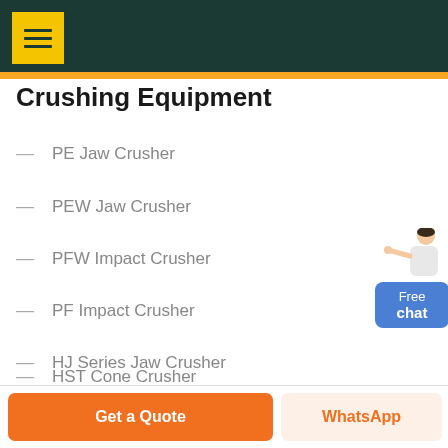Crushing Equipment
PE Jaw Crusher
PEW Jaw Crusher
PFW Impact Crusher
PF Impact Crusher
HJ Series Jaw Crusher
HST Cone Crusher
[Figure (illustration): Customer service representative figure with Free chat button overlay]
Get a Quote | WhatsApp